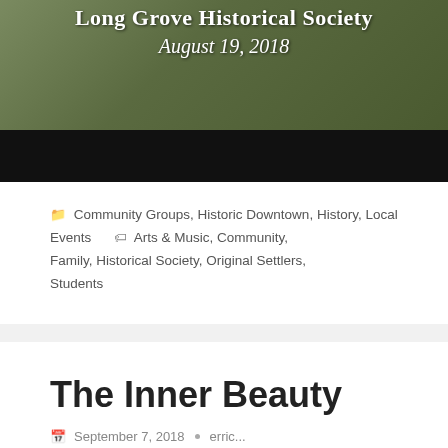[Figure (photo): Banner image for Long Grove Historical Society event on August 19, 2018. Shows an outdoor scene with text overlay on dark/green background, with a black bar below.]
Community Groups, Historic Downtown, History, Local Events   Arts & Music, Community, Family, Historical Society, Original Settlers, Students
The Inner Beauty
September 7, 2018  •  erric...